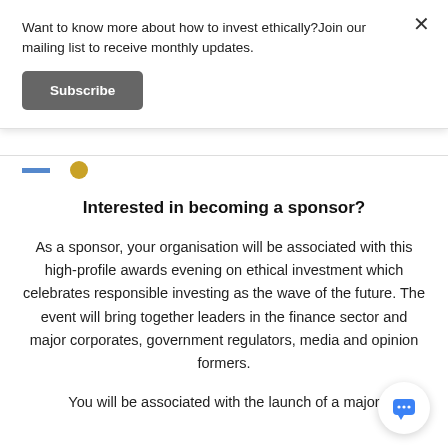Want to know more about how to invest ethically?Join our mailing list to receive monthly updates.
Subscribe
Interested in becoming a sponsor?
As a sponsor, your organisation will be associated with this high-profile awards evening on ethical investment which celebrates responsible investing as the wave of the future. The event will bring together leaders in the finance sector and major corporates, government regulators, media and opinion formers.
You will be associated with the launch of a major